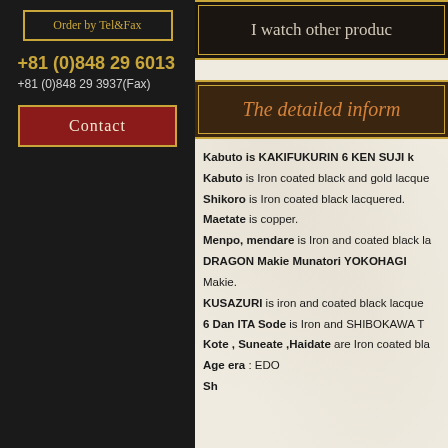Order by Tel&Fax
+81 (0)848 29 6013
+81 (0)848 29 3937(Fax)
Contact
I watch other produc
The detailed inform
Kabuto is KAKIFUKURIN 6 KEN SUJI k
Kabuto is Iron coated black and gold lacque
Shikoro is Iron coated black lacquered.
Maetate is copper.
Menpo, mendare is Iron and coated black la
DRAGON Makie Munatori YOKOHAGI
Makie.
KUSAZURI is iron and coated black lacque
6 Dan ITA Sode is Iron and SHIBOKAWA T
Kote , Suneate ,Haidate are Iron coated bla
Age era : EDO